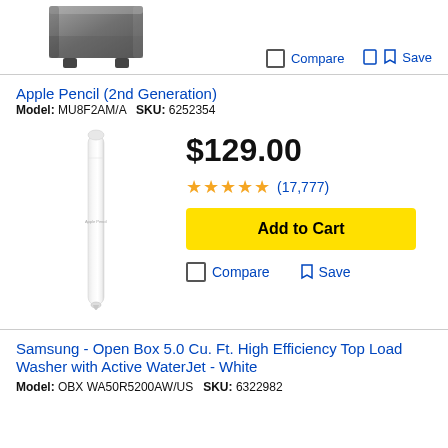[Figure (photo): Partial top view of a dark/grey appliance (washer/dryer) product image, cropped from above]
Compare    Save
Apple Pencil (2nd Generation)
Model: MU8F2AM/A   SKU: 6252354
[Figure (photo): White Apple Pencil (2nd Generation) shown vertically]
$129.00
★★★★★ (17,777)
Add to Cart
Compare    Save
Samsung - Open Box 5.0 Cu. Ft. High Efficiency Top Load Washer with Active WaterJet - White
Model: OBX WA50R5200AW/US   SKU: 6322982